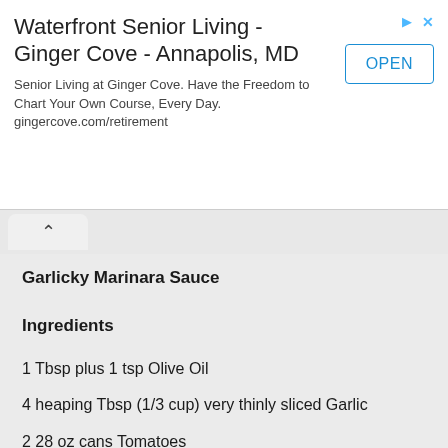[Figure (other): Advertisement banner for Waterfront Senior Living - Ginger Cove - Annapolis, MD with an OPEN button]
Garlicky Marinara Sauce
Ingredients
1 Tbsp plus 1 tsp Olive Oil
4 heaping Tbsp (1/3 cup) very thinly sliced Garlic
2 28 oz cans Tomatoes
1/4 Cup firmly packed fresh Basil leaves, torn
Method
Place oil in heavy saucepan over moderately high heat. Add the